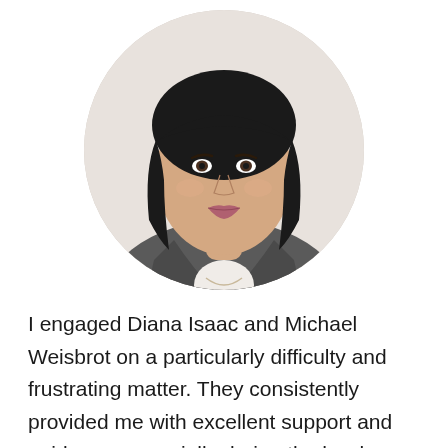[Figure (photo): Professional headshot of a woman with dark straight hair wearing a grey blazer and white top with a delicate necklace, shown in a circular crop against a white background.]
I engaged Diana Isaac and Michael Weisbrot on a particularly difficulty and frustrating matter. They consistently provided me with excellent support and guidance, especially during the hard times